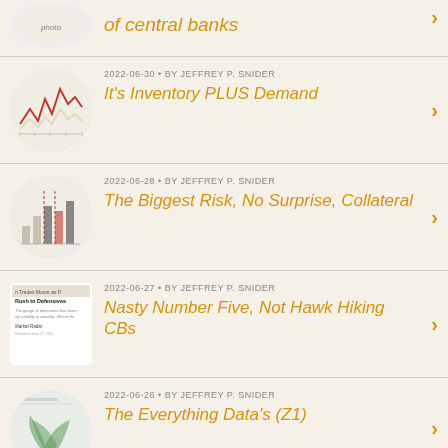of central banks — 2022-06 — BY JEFFREY P. SNIDER (partial top item)
2022-06-30 • BY JEFFREY P. SNIDER — It's Inventory PLUS Demand
2022-06-28 • BY JEFFREY P. SNIDER — The Biggest Risk, No Surprise, Collateral
2022-06-27 • BY JEFFREY P. SNIDER — Nasty Number Five, Not Hawk Hiking CBs
2022-06-26 • BY JEFFREY P. SNIDER — The Everything Data's (Z1)